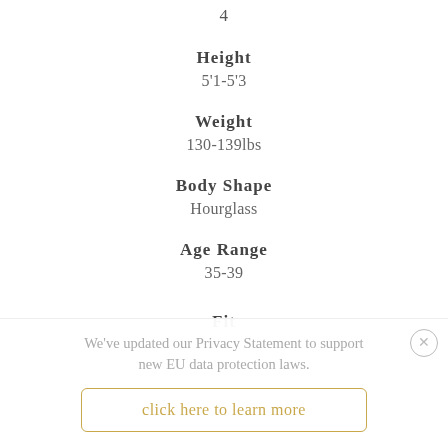4
Height
5'1-5'3
Weight
130-139lbs
Body Shape
Hourglass
Age Range
35-39
Fit
We've updated our Privacy Statement to support new EU data protection laws.
click here to learn more